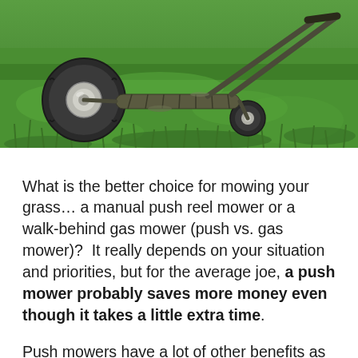[Figure (photo): A manual push reel mower lying on green grass, viewed from a low angle showing the wheel, reel blades, and handles against a bright green lawn background.]
What is the better choice for mowing your grass... a manual push reel mower or a walk-behind gas mower (push vs. gas mower)?  It really depends on your situation and priorities, but for the average joe, a push mower probably saves more money even though it takes a little extra time.
Push mowers have a lot of other benefits as well, including being much better for the environment, producing less noise, and